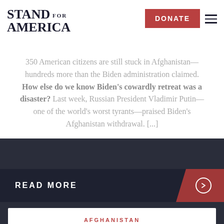STAND FOR AMERICA | DONATE | [menu]
350 American citizens are still stuck in Afghanistan—hundreds more than the Biden administration claimed. How else do we know Biden's cowardly retreat was a disaster? Last week, Russian President Vladimir Putin—one of the world's worst tyrants—praised Biden's Afghanistan withdrawal. [...]
READ MORE →
AFGHANISTAN
OCTOBER 13, 2021
Inflation = More Grime, Less Groceries